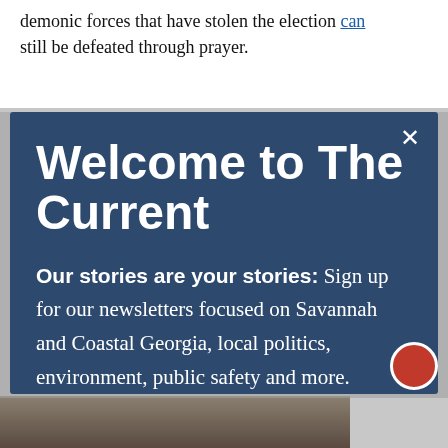demonic forces that have stolen the election can still be defeated through prayer.
[Figure (screenshot): A modal popup dialog with dark navy blue background titled 'Welcome to The Current' with body text about signing up for newsletters focused on Savannah and Coastal Georgia, local politics, environment, public safety and more. A close (×) button is in the top right corner.]